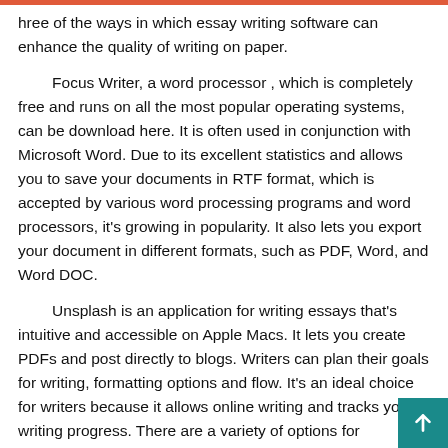hree of the ways in which essay writing software can enhance the quality of writing on paper.
Focus Writer, a word processor , which is completely free and runs on all the most popular operating systems, can be download here. It is often used in conjunction with Microsoft Word. Due to its excellent statistics and allows you to save your documents in RTF format, which is accepted by various word processing programs and word processors, it's growing in popularity. It also lets you export your document in different formats, such as PDF, Word, and Word DOC.
Unsplash is an application for writing essays that's intuitive and accessible on Apple Macs. It lets you create PDFs and post directly to blogs. Writers can plan their goals for writing, formatting options and flow. It's an ideal choice for writers because it allows online writing and tracks your writing progress. There are a variety of options for designing and formatting